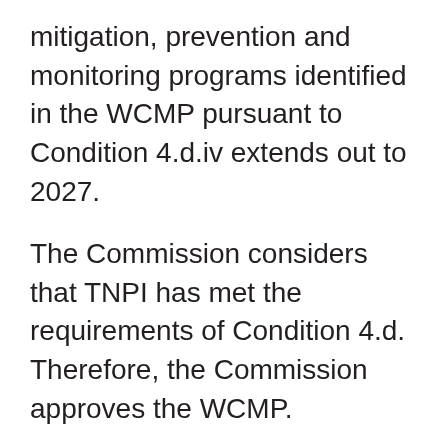mitigation, prevention and monitoring programs identified in the WCMP pursuant to Condition 4.d.iv extends out to 2027.
The Commission considers that TNPI has met the requirements of Condition 4.d. Therefore, the Commission approves the WCMP.
The Commission expects TNPI to implement all recommendations and mitigations of the Report and its addendum as committed in its filings.
The Commission understands that the evaluation of pipeline risk and reliability at